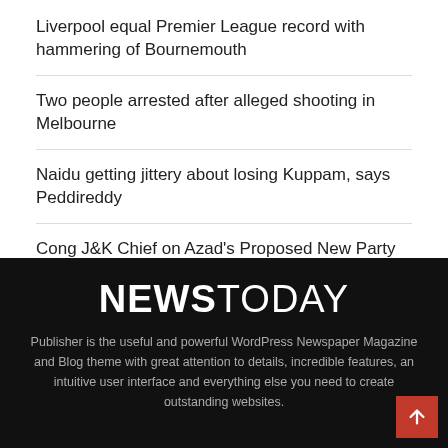Liverpool equal Premier League record with hammering of Bournemouth
Two people arrested after alleged shooting in Melbourne
Naidu getting jittery about losing Kuppam, says Peddireddy
Cong J&K Chief on Azad's Proposed New Party
Bull Race: Kerala High Court Directs Police to Implement Kollam Collector's Order Prohibiting It
[Figure (logo): NEWSTODAY logo in white bold text on black background]
Publisher is the useful and powerful WordPress Newspaper Magazine and Blog theme with great attention to details, incredible features, an intuitive user interface and everything else you need to create outstanding websites.